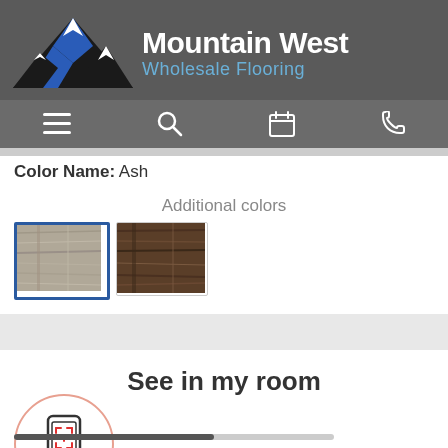[Figure (logo): Mountain West Wholesale Flooring logo with mountain silhouette graphic on dark gray header background]
[Figure (screenshot): Navigation bar with hamburger menu, search, calendar, and phone icons on dark gray background]
Color Name: Ash
Additional colors
[Figure (photo): Two flooring color swatches: first (selected, blue border) showing light ash wood grain, second showing dark brown wood grain]
See in my room
[Figure (illustration): AR room visualization icon: smartphone with scan/AR target icon inside a circle with salmon/pink border]